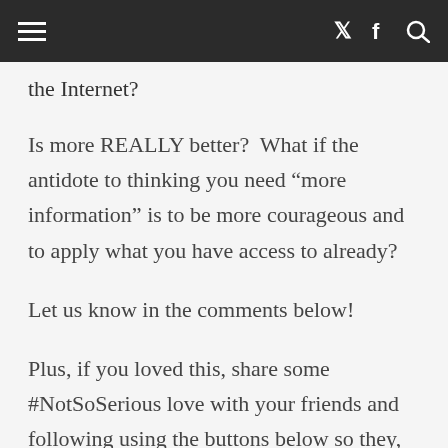≡  f  🔍
the Internet?
Is more REALLY better?  What if the antidote to thinking you need “more information” is to be more courageous and to apply what you have access to already?
Let us know in the comments below!
Plus, if you loved this, share some #NotSoSerious love with your friends and following using the buttons below so they, too, can laugh all the way to the bank of transformation!